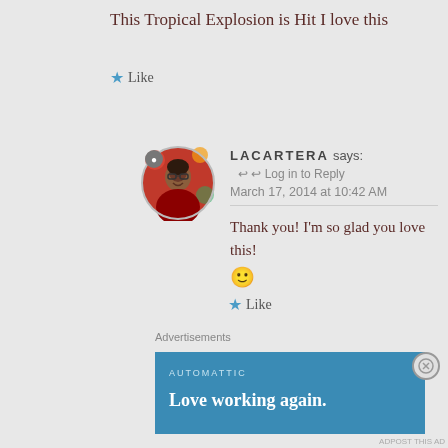This Tropical Explosion is Hit I love this
★ Like
[Figure (photo): Circular avatar photo of LACARTERA, a smiling woman wearing glasses and a red top]
LACARTERA says:  ↩ Log in to Reply
March 17, 2014 at 10:42 AM
Thank you! I'm so glad you love this! 🙂
★ Like
Advertisements
[Figure (screenshot): Advertisement banner for Automattic with text 'Love working again.' on a blue background]